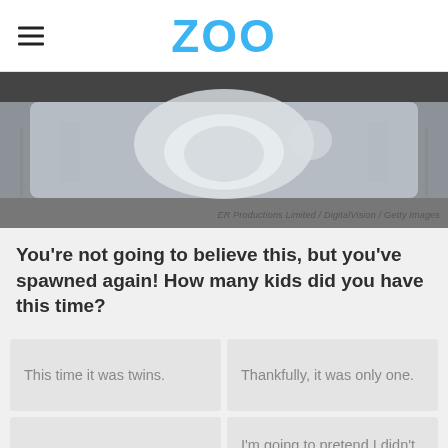ZOO
[Figure (photo): A newborn baby lying in a hospital bassinet, black and white/desaturated photo. Photo credit: ER Productions Limited / DigitalVision / Getty Images]
You're not going to believe this, but you've spawned again! How many kids did you have this time?
This time it was twins.
Thankfully, it was only one.
It's triplets!
I'm going to pretend I didn't land there.